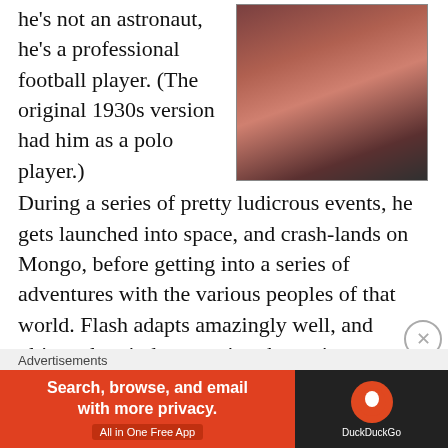he's not an astronaut, he's a professional football player. (The original 1930s version had him as a polo player.)   During a series of pretty ludicrous events, he gets launched into space, and crash-lands on Mongo, before getting into a series of adventures with the various peoples of that world.  Flash adapts amazingly well, and ultimately winds up saving the various different nations of Mongo from their evil overlord, Ming The Merciless.  There have been other
[Figure (photo): A photo showing a person in dark/red costume, appears to be a performance or theatrical scene]
Advertisements
[Figure (screenshot): DuckDuckGo advertisement banner: 'Search, browse, and email with more privacy. All in One Free App' with DuckDuckGo logo on dark background]